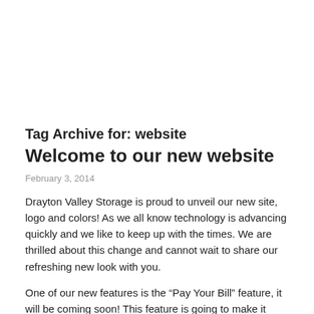Tag Archive for: website
Welcome to our new website
February 3, 2014
Drayton Valley Storage is proud to unveil our new site, logo and colors! As we all know technology is advancing quickly and we like to keep up with the times. We are thrilled about this change and cannot wait to share our refreshing new look with you.
One of our new features is the “Pay Your Bill” feature, it will be coming soon! This feature is going to make it easier to pay your weekly, monthly, bi-annual, or annual storage rent any time during the day. Now that crazy work schedule won’t get in the way, not to